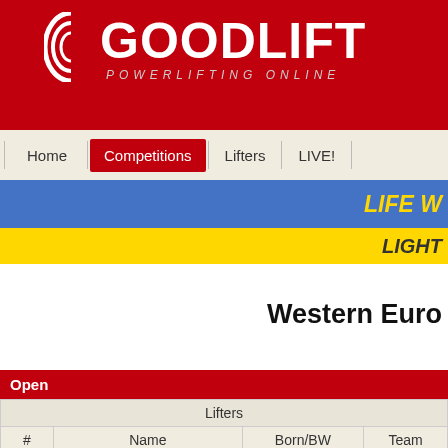[Figure (logo): Goodlift Powerlifting Online logo on red background]
Home | Competitions | Lifters | LIVE!
LIFE W...
LIGHT ...
Western Euro...
| # | Name | Born/BW | Team |
| --- | --- | --- | --- |
| Open |  |  |  |
| Lifters |  |  |  |
| -47kg |  |  |  |
| 1. | Cano Torres Beatriz | 1961 / 46.49 | ESP |
| -52kg |  |  |  |
| 1. | Presenti Valentina | 1991 / 51.73 | ITA |